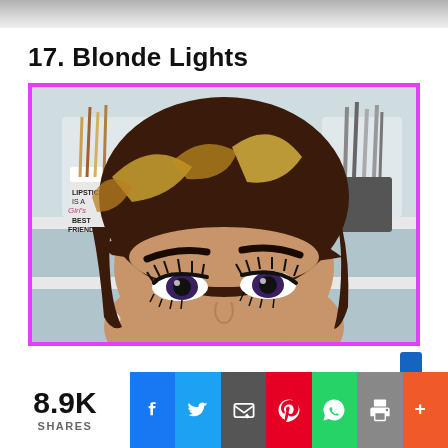[Figure (photo): Partial view of a previous photo at the top of the page — cropped image strip]
17. Blonde Lights
[Figure (photo): Close-up portrait of a woman with a short pixie cut hairstyle featuring dark brown base with blonde highlights. She has dramatic eye makeup. In the background is a makeup brush holder and a mug reading 'LIPSTICK IS A GIRL'S BEST FRIEND'. Photo is bordered with a bright magenta/pink border.]
8.9K SHARES — social share bar with Facebook, Twitter, Email, Pinterest, WhatsApp, Print, and More buttons